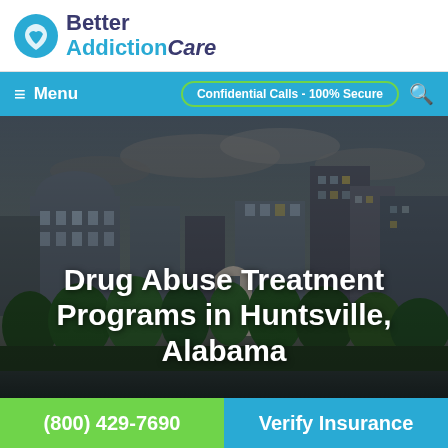[Figure (logo): Better AddictionCare logo with blue icon and text]
≡ Menu  |  Confidential Calls - 100% Secure  🔍
[Figure (photo): City skyline of Huntsville Alabama with trees and buildings under cloudy sky]
Drug Abuse Treatment Programs in Huntsville, Alabama
(800) 429-7690
Verify Insurance